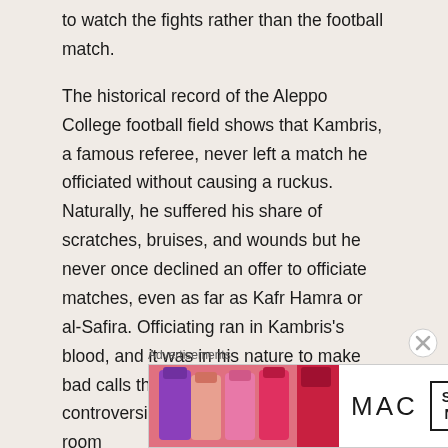to watch the fights rather than the football match.
The historical record of the Aleppo College football field shows that Kambris, a famous referee, never left a match he officiated without causing a ruckus. Naturally, he suffered his share of scratches, bruises, and wounds but he never once declined an offer to officiate matches, even as far as Kafr Hamra or al-Safira. Officiating ran in Kambris's blood, and it was in his nature to make bad calls that incited not only controversies but brawls. There is no room
[Figure (other): MAC cosmetics advertisement banner showing lipsticks, MAC logo, and SHOP NOW button]
Advertisements